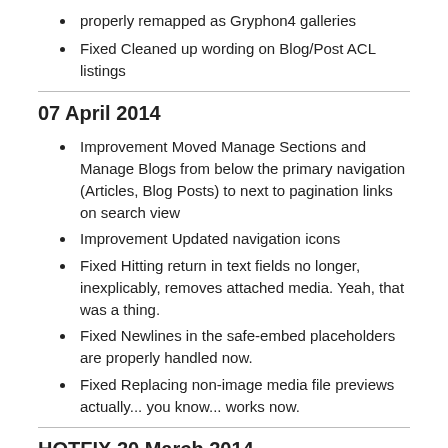properly remapped as Gryphon4 galleries
Fixed Cleaned up wording on Blog/Post ACL listings
07 April 2014
Improvement Moved Manage Sections and Manage Blogs from below the primary navigation (Articles, Blog Posts) to next to pagination links on search view
Improvement Updated navigation icons
Fixed Hitting return in text fields no longer, inexplicably, removes attached media. Yeah, that was a thing.
Fixed Newlines in the safe-embed placeholders are properly handled now.
Fixed Replacing non-image media file previews actually... you know... works now.
HOTFIX 20 March 2014